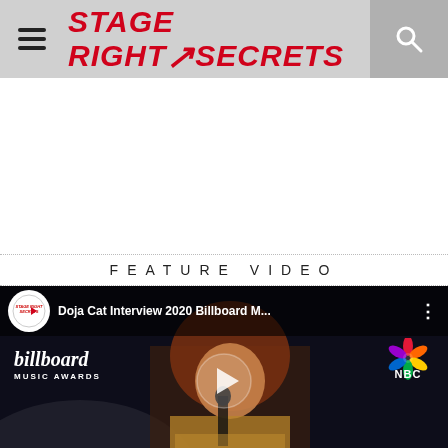STAGE RIGHT SECRETS
[Figure (screenshot): Stage Right Secrets website screenshot showing the navigation header with hamburger menu, logo, and search icon, followed by a white ad area, a 'FEATURE VIDEO' section header, and a YouTube video thumbnail for 'Doja Cat Interview 2020 Billboard M...' featuring Doja Cat at the Billboard Music Awards with NBC logo visible.]